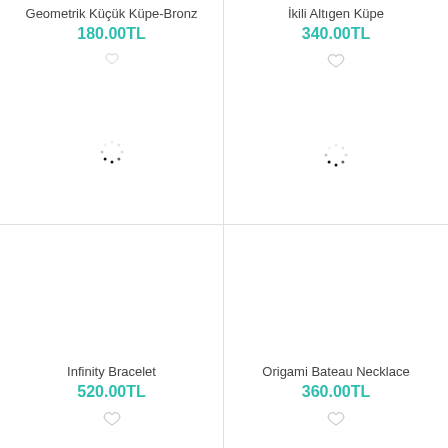Geometrik Küçük Küpe-Bronz
180.00TL
[Figure (illustration): Heart/wishlist icon outline]
[Figure (illustration): Loading spinner dots indicating image loading]
İkili Altıgen Küpe
340.00TL
[Figure (illustration): Heart/wishlist icon outline]
[Figure (illustration): Loading spinner dots indicating image loading]
Infinity Bracelet
520.00TL
[Figure (illustration): Heart/wishlist icon outline]
Origami Bateau Necklace
360.00TL
[Figure (illustration): Heart/wishlist icon outline]